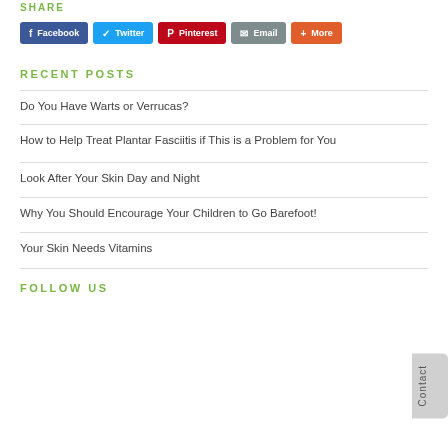SHARE
[Figure (other): Social share buttons: Facebook, Twitter, Pinterest, Email, More]
RECENT POSTS
Do You Have Warts or Verrucas?
How to Help Treat Plantar Fasciitis if This is a Problem for You
Look After Your Skin Day and Night
Why You Should Encourage Your Children to Go Barefoot!
Your Skin Needs Vitamins
FOLLOW US